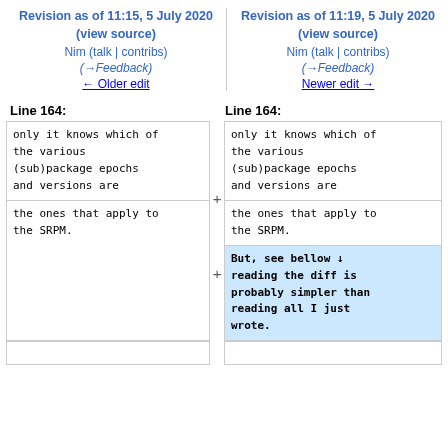Revision as of 11:15, 5 July 2020 (view source)
Nim (talk | contribs)
(→Feedback)
← Older edit
Revision as of 11:19, 5 July 2020 (view source)
Nim (talk | contribs)
(→Feedback)
Newer edit →
Line 164:
Line 164:
only it knows which of the various (sub)package epochs and versions are
only it knows which of the various (sub)package epochs and versions are
the ones that apply to the SRPM.
the ones that apply to the SRPM.
But, see bellow ↓ reading the diff is probably simpler than reading all I just wrote.